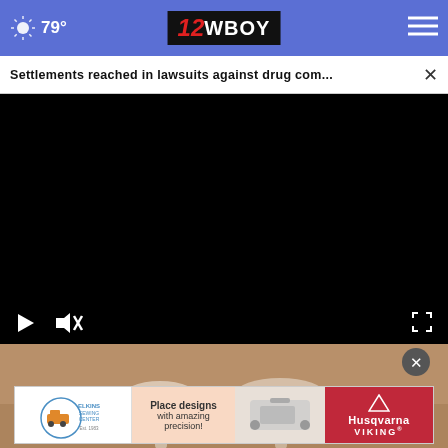79° | 12WBOY
Settlements reached in lawsuits against drug com...
[Figure (screenshot): Black video player area with play button and mute icon controls at bottom left, expand icon at bottom right]
[Figure (photo): Photo below video showing spoons on wooden surface]
[Figure (infographic): Advertisement banner for Elkins Sewing Center featuring Husqvarna Viking logo with text 'Place designs with amazing precision!']